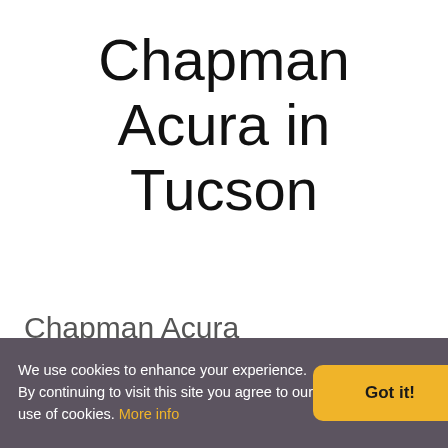Chapman Acura in Tucson
Chapman Acura
in Car Dealers
The staff of Chapman Automotive is nearly 1700 people strong, and all are committed to delivering the best ownership experience possible.
We use cookies to enhance your experience. By continuing to visit this site you agree to our use of cookies. More info